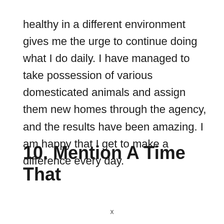healthy in a different environment gives me the urge to continue doing what I do daily. I have managed to take possession of various domesticated animals and assign them new homes through the agency, and the results have been amazing. I am happy that I get to make a difference every day.
10. Mention A Time That
x